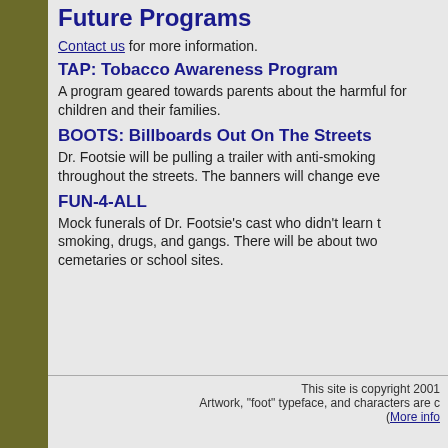Future Programs
Contact us for more information.
TAP: Tobacco Awareness Program
A program geared towards parents about the harmful for children and their families.
BOOTS: Billboards Out On The Streets
Dr. Footsie will be pulling a trailer with anti-smoking throughout the streets. The banners will change eve
FUN-4-ALL
Mock funerals of Dr. Footsie's cast who didn't learn t smoking, drugs, and gangs. There will be about two cemetaries or school sites.
This site is copyright 2001 Artwork, "foot" typeface, and characters are c (More info